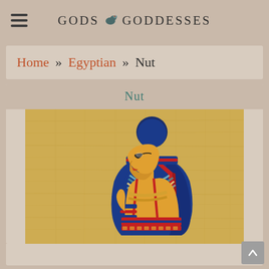GODS & GODDESSES
Home » Egyptian » Nut
Nut
[Figure (illustration): Egyptian goddess Nut depicted in ancient Egyptian art style on a golden papyrus background. She is shown in profile facing left, with a dark blue headdress and a round dark blue orb on top. She wears a colorful beaded collar necklace, a yellow skin tone, and traditional Egyptian ceremonial dress with blue and red arm bands.]